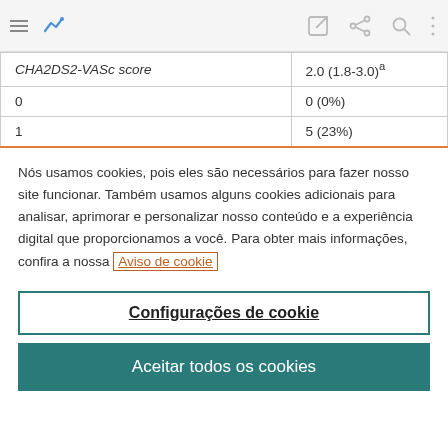Navigation bar with hamburger menu, chart icon, edit icon, share icon, search icon, more options icon
|  |  |
| --- | --- |
| CHA2DS2-VASc score | 2.0 (1.8-3.0)^a |
| 0 | 0 (0%) |
| 1 | 5 (23%) |
Nós usamos cookies, pois eles são necessários para fazer nosso site funcionar. Também usamos alguns cookies adicionais para analisar, aprimorar e personalizar nosso conteúdo e a experiência digital que proporcionamos a você. Para obter mais informações, confira a nossa Aviso de cookie
Configurações de cookie
Aceitar todos os cookies